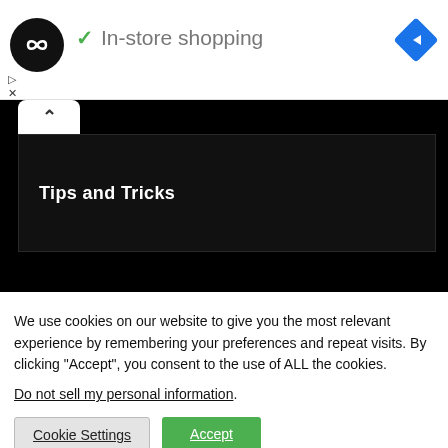[Figure (logo): Round black logo with double-arrow/infinity symbol in white, followed by a green checkmark and text 'In-store shopping', and a blue diamond navigation icon on the right]
[Figure (screenshot): A black video/media panel with a white tab showing an up-chevron, and a black box with white bold text 'Tips and Tricks']
We use cookies on our website to give you the most relevant experience by remembering your preferences and repeat visits. By clicking “Accept”, you consent to the use of ALL the cookies.
Do not sell my personal information.
Cookie Settings
Accept